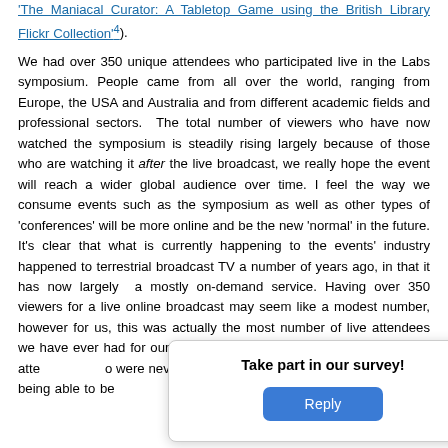'The Maniacal Curator: A Tabletop Game using the British Library Flickr Collection'⁴).
We had over 350 unique attendees who participated live in the Labs symposium. People came from all over the world, ranging from Europe, the USA and Australia and from different academic fields and professional sectors. The total number of viewers who have now watched the symposium is steadily rising largely because of those who are watching it after the live broadcast, we really hope the event will reach a wider global audience over time. I feel the way we consume events such as the symposium as well as other types of 'conferences' will be more online and be the new 'normal' in the future. It's clear that what is currently happening to the events' industry happened to terrestrial broadcast TV a number of years ago, in that it has now largely a mostly on-demand service. Having over 350 viewers for a live online broadcast may seem like a modest number, however for us, this was actually the most number of live attendees we have ever had for our symposium and an opportunity for many to atte... o were never able to at... not being able to be... y pleased with this ... er similar online eve... ou missed
Take part in our survey!
Reply